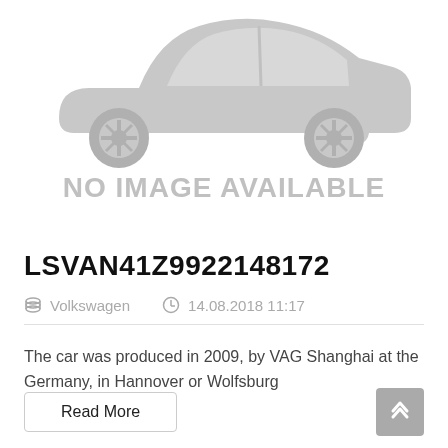[Figure (illustration): Gray car silhouette placeholder image with text NO IMAGE AVAILABLE below it]
LSVAN41Z9922148172
Volkswagen   14.08.2018 11:17
The car was produced in 2009, by VAG Shanghai at the Germany, in Hannover or Wolfsburg
Read More